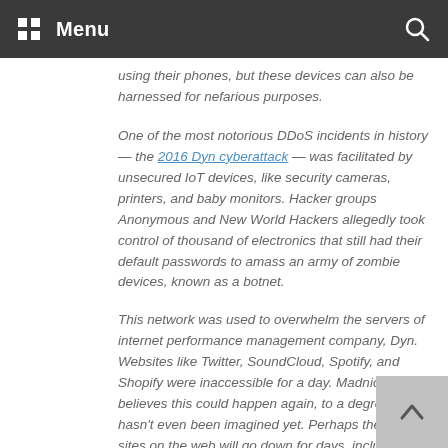Menu
using their phones, but these devices can also be harnessed for nefarious purposes.
One of the most notorious DDoS incidents in history — the 2016 Dyn cyberattack — was facilitated by unsecured IoT devices, like security cameras, printers, and baby monitors. Hacker groups Anonymous and New World Hackers allegedly took control of thousand of electronics that still had their default passwords to amass an army of zombie devices, known as a botnet.
This network was used to overwhelm the servers of internet performance management company, Dyn. Websites like Twitter, SoundCloud, Spotify, and Shopify were inaccessible for a day. Madnick believes this could happen again, to a degree that hasn't even been imagined yet. Perhaps the biggest sites on the web will go down for days, including online blanks, or worse, the internet that controls a public utility like electricity. Perhaps the biggest sites on the web will go down for days, including online blanks, or worse, the